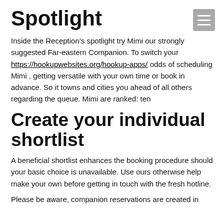Spotlight
Inside the Reception’s spotlight try Mimi our strongly suggested Far-eastern Companion. To switch your https://hookupwebsites.org/hookup-apps/ odds of scheduling Mimi , getting versatile with your own time or book in advance. So it towns and cities you ahead of all others regarding the queue. Mimi are ranked: ten
Create your individual shortlist
A beneficial shortlist enhances the booking procedure should your basic choice is unavailable. Use ours otherwise help make your own before getting in touch with the fresh hotline.
Please be aware, companion reservations are created in